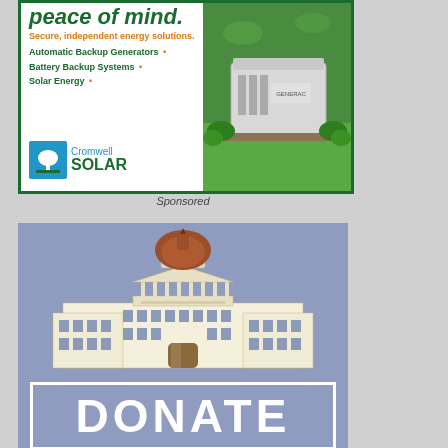[Figure (illustration): Cromwell Solar advertisement with green border. Shows partial bold green italic text at top reading 'peace of mind.', orange tagline 'Secure, independent energy solutions.', green bold list items 'Automatic Backup Generators •', 'Battery Backup Systems •', 'Solar Energy •' with orange bullets, Cromwell Solar logo on bottom left with blue tree icon, and a photo of a Generac backup generator on a lawn on the right side.]
Sponsored
[Figure (illustration): Donation advertisement with periwinkle/slate blue background. Shows an illustrated capitol building with dome in center, and a white-bordered box at the bottom with large white bold text reading 'DONATE'.]